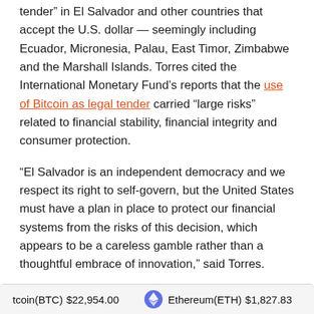tender" in El Salvador and other countries that accept the U.S. dollar — seemingly including Ecuador, Micronesia, Palau, East Timor, Zimbabwe and the Marshall Islands. Torres cited the International Monetary Fund's reports that the use of Bitcoin as legal tender carried "large risks" related to financial stability, financial integrity and consumer protection.
"El Salvador is an independent democracy and we respect its right to self-govern, but the United States must have a plan in place to protect our financial systems from the risks of this decision, which appears to be a careless gamble rather than a thoughtful embrace of innovation," said Torres.
Bitcoin(BTC) $22,954.00   Ethereum(ETH) $1,827.83   XRP(XRP...